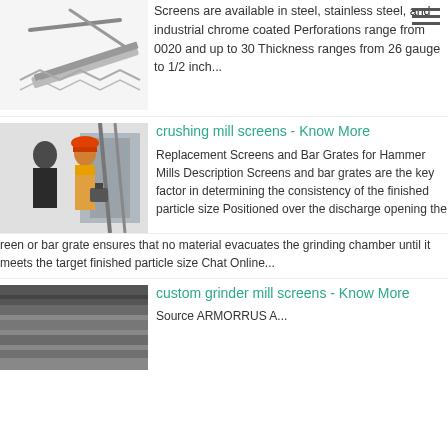[Figure (photo): Metal screen/mesh product on white background]
Screens are available in steel, stainless steel, and industrial chrome coated Perforations range from 0020 and up to 30 Thickness ranges from 26 gauge to 1/2 inch...
[Figure (photo): Two workers, one in hard hat, at industrial site]
crushing mill screens - Know More
Replacement Screens and Bar Grates for Hammer Mills Description Screens and bar grates are the key factor in determining the consistency of the finished particle size Positioned over the discharge opening the screen or bar grate ensures that no material evacuates the grinding chamber until it meets the target finished particle size Chat Online...
[Figure (photo): Metal grinder mill screen close-up]
custom grinder mill screens - Know More